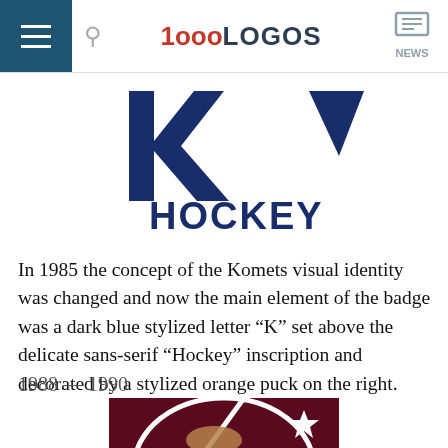1000LOGOS  NEWS
[Figure (logo): Fort Wayne Komets 1985 hockey logo: dark blue stylized letter K above the word HOCKEY in bold blue sans-serif with a dark blue triangular shape to the right]
In 1985 the concept of the Komets visual identity was changed and now the main element of the badge was a dark blue stylized letter “K” set above the delicate sans-serif “Hockey” inscription and decorated by a stylized orange puck on the right.
1988 — 1990
[Figure (logo): Fort Wayne Komets 1988-1990 logo: dark maroon/burgundy background with a white circular shape, a hockey stick, star, and glove elements visible]